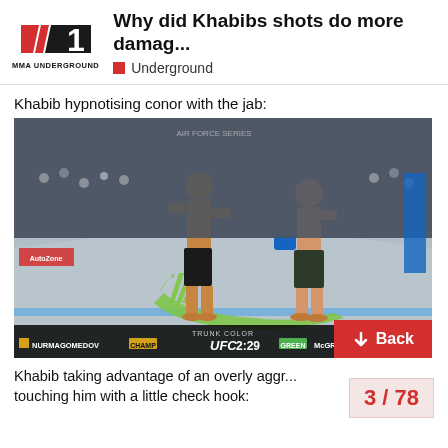Why did Khabibs shots do more damag... | Underground | MMA UNDERGROUND
Khabib hypnotising conor with the jab:
[Figure (photo): UFC fight screenshot showing Khabib Nurmagomedov and Conor McGregor facing off in the octagon at UFC 229. On-screen scoreboard shows NURMAGOMEDOV CHAMP UFC 2:29 GREEN McGREGOR. Monster Energy logo on canvas. Trunk Color overlay visible.]
Khabib taking advantage of an overly aggr... touching him with a little check hook:
3 / 78